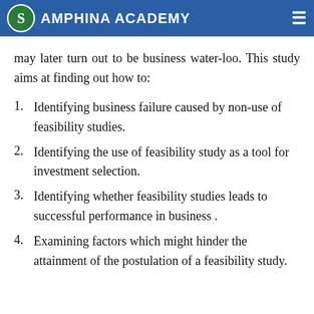Amphina Academy
may later turn out to be business water-loo. This study aims at finding out how to:
Identifying business failure caused by non-use of feasibility studies.
Identifying the use of feasibility study as a tool for investment selection.
Identifying whether feasibility studies leads to successful performance in business .
Examining factors which might hinder the attainment of the postulation of a feasibility study.